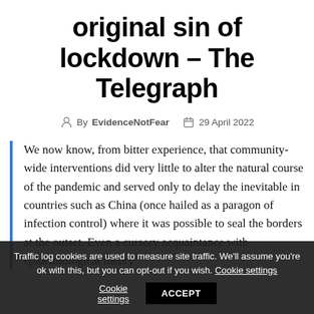original sin of lockdown – The Telegraph
By EvidenceNotFear   29 April 2022
We now know, from bitter experience, that community-wide interventions did very little to alter the natural course of the pandemic and served only to delay the inevitable in countries such as China (once hailed as a paragon of infection control) where it was possible to seal the borders at the outset. Even a cursory acquaintance with epidemiological theory
Traffic log cookies are used to measure site traffic. We'll assume you're ok with this, but you can opt-out if you wish. Cookie settings ACCEPT